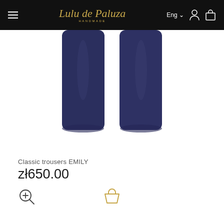Lulu de Paluza HANDMADE — Eng navigation bar
[Figure (photo): Bottom portion of navy blue classic trousers EMILY shown against white background]
Classic trousers EMILY
zł650.00
[Figure (illustration): Yellow shopping bag icon (add to cart button)]
[Figure (illustration): Zoom-in / magnifier icon with plus sign]